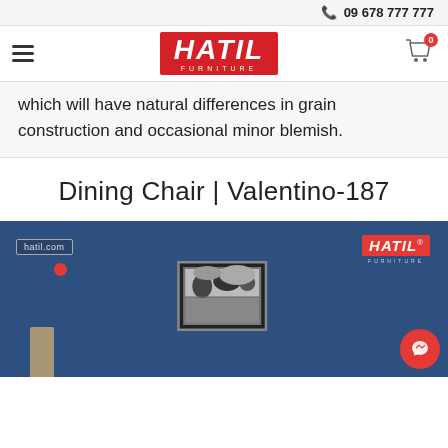09 678 777 777
[Figure (logo): HATIL Furniture logo in red with hamburger menu and cart icon navigation bar]
which will have natural differences in grain construction and occasional minor blemish.
Dining Chair | Valentino-187
[Figure (photo): Product image area with blue background showing HATIL Furniture branding, hatil.com label, a framed landscape photo, a messenger chat button, and partial product view at bottom]